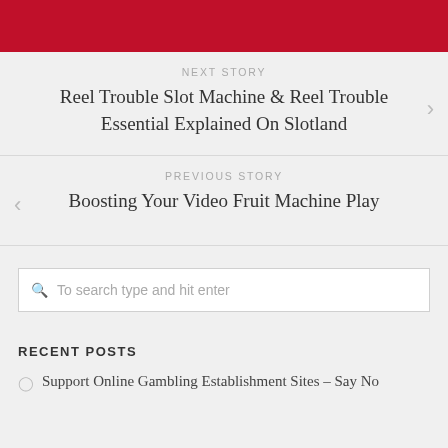NEXT STORY
Reel Trouble Slot Machine & Reel Trouble Essential Explained On Slotland
PREVIOUS STORY
Boosting Your Video Fruit Machine Play
To search type and hit enter
RECENT POSTS
Support Online Gambling Establishment Sites – Say No